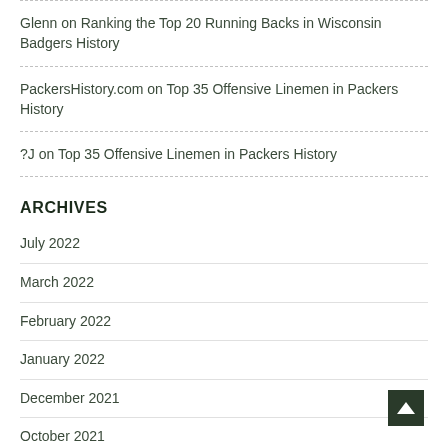Glenn on Ranking the Top 20 Running Backs in Wisconsin Badgers History
PackersHistory.com on Top 35 Offensive Linemen in Packers History
?J on Top 35 Offensive Linemen in Packers History
ARCHIVES
July 2022
March 2022
February 2022
January 2022
December 2021
October 2021
September 2021